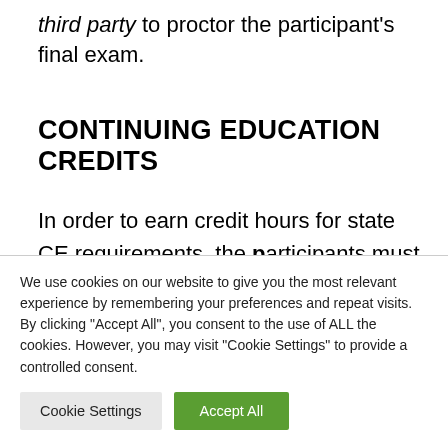third party to proctor the participant's final exam.
CONTINUING EDUCATION CREDITS
In order to earn credit hours for state CE requirements, the participants must select a proctor/monitor who meets the qualifications defined by the state, if required. Participants'
We use cookies on our website to give you the most relevant experience by remembering your preferences and repeat visits. By clicking "Accept All", you consent to the use of ALL the cookies. However, you may visit "Cookie Settings" to provide a controlled consent.